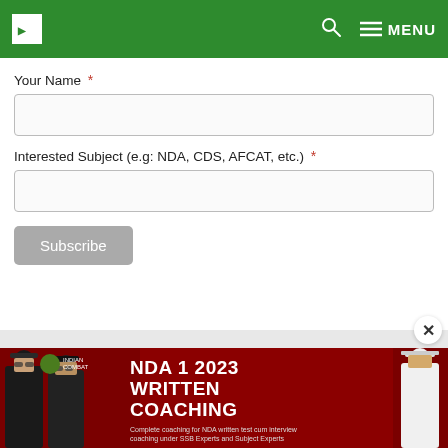MENU (navigation bar with search icon)
Your Name *
Interested Subject (e.g: NDA, CDS, AFCAT, etc.) *
Subscribe
[Figure (infographic): NDA 1 2023 WRITTEN COACHING advertisement banner with soldiers in uniform, dark red background. Text: 'NDA 1 2023 WRITTEN COACHING - Complete coaching for NDA written test cum interview coaching under SSB Experts and Subject Experts']